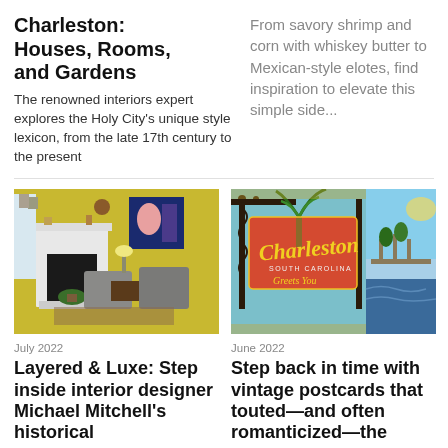Charleston: Houses, Rooms, and Gardens
The renowned interiors expert explores the Holy City's unique style lexicon, from the late 17th century to the present
From savory shrimp and corn with whiskey butter to Mexican-style elotes, find inspiration to elevate this simple side...
[Figure (photo): Interior room with yellow walls, fireplace, armchairs, and colorful artwork]
July 2022
Layered & Luxe: Step inside interior designer Michael Mitchell's historical
[Figure (photo): Vintage postcard collage showing Charleston, South Carolina signs and scenery]
June 2022
Step back in time with vintage postcards that touted—and often romanticized—the